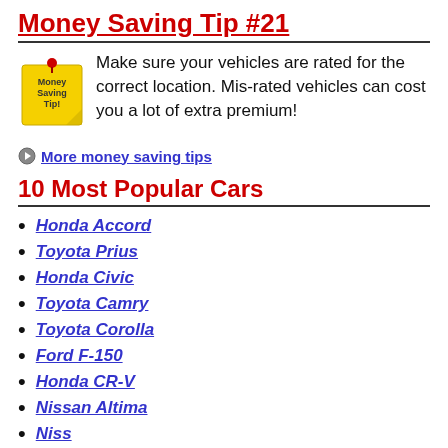Money Saving Tip #21
[Figure (illustration): Yellow sticky note with text 'Money Saving Tip!' with a red pushpin]
Make sure your vehicles are rated for the correct location. Mis-rated vehicles can cost you a lot of extra premium!
More money saving tips
10 Most Popular Cars
Honda Accord
Toyota Prius
Honda Civic
Toyota Camry
Toyota Corolla
Ford F-150
Honda CR-V
Nissan Altima
Nissan Sentra